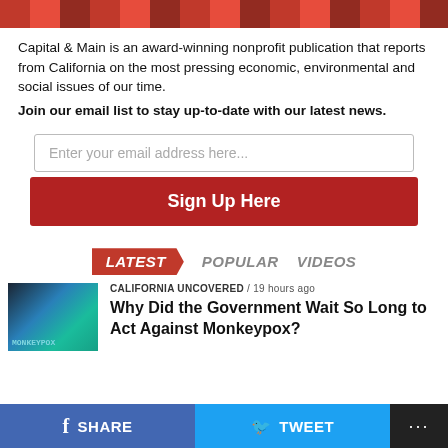[Figure (photo): Partial red banner/image at the top of the page]
Capital & Main is an award-winning nonprofit publication that reports from California on the most pressing economic, environmental and social issues of our time.
Join our email list to stay up-to-date with our latest news.
Enter your email address here...
Sign Up Here
LATEST   POPULAR   VIDEOS
CALIFORNIA UNCOVERED / 19 hours ago
Why Did the Government Wait So Long to Act Against Monkeypox?
f SHARE   TWEET   ...